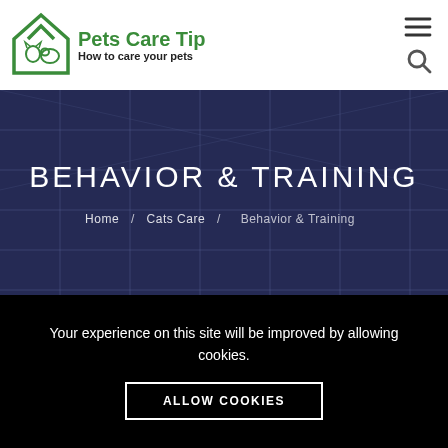Pets Care Tip — How to care your pets
BEHAVIOR & TRAINING
Home / Cats Care / Behavior & Training
Your experience on this site will be improved by allowing cookies.
ALLOW COOKIES